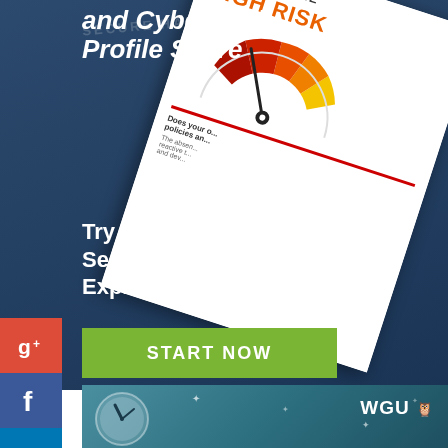and Cyber Risk Profile Score
[Figure (infographic): Risk profile gauge showing HIGH RISK reading with needle pointing to red zone, mounted on a white card. Below gauge shows partial text about policies.]
Try Our
Secure Halo
Express Assessment
START NOW
[Figure (infographic): Social media sidebar icons: Google+, Facebook, LinkedIn, Twitter, People, StumbleUpon]
[Figure (infographic): WGU owl logo banner with teal/dark blue background showing a clock illustration and star decorations]